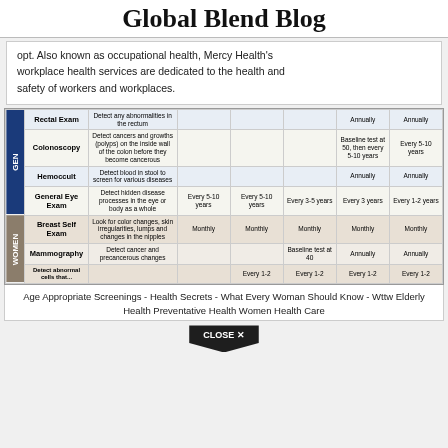Global Blend Blog
opt. Also known as occupational health, Mercy Health's workplace health services are dedicated to the health and safety of workers and workplaces.
|  | Exam | Description | 20s | 30s | 40s | 50s | 60+ |
| --- | --- | --- | --- | --- | --- | --- | --- |
| GEN | Rectal Exam | Detect any abnormalities in the rectum |  |  |  | Annually | Annually |
| GEN | Colonoscopy | Detect cancers and growths (polyps) on the inside wall of the colon before they become cancerous |  |  |  | Baseline test at 50, then every 5-10 years | Every 5-10 years |
| GEN | Hemoccult | Detect blood in stool to screen for various diseases |  |  |  | Annually | Annually |
| GEN | General Eye Exam | Detect hidden disease processes in the eye or body as a whole | Every 5-10 years | Every 5-10 years | Every 3-5 years | Every 3 years | Every 1-2 years |
| WOMEN | Breast Self Exam | Look for color changes, skin irregularities, lumps and changes in the nipples | Monthly | Monthly | Monthly | Monthly | Monthly |
| WOMEN | Mammography | Detect cancer and precancerous changes |  |  | Baseline test at 40 | Annually | Annually |
| WOMEN | (partial) | Detect abnormal cells that... |  |  | Every 1-2 | Every 1-2 | Every 1-2 | Every 1-2 |
Age Appropriate Screenings - Health Secrets - What Every Woman Should Know - Wttw Elderly Health Preventative Health Women Health Care